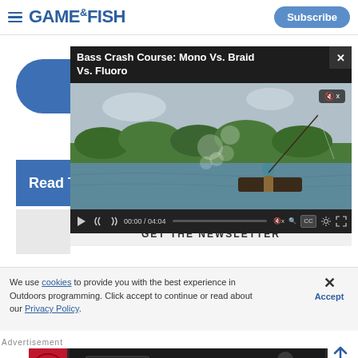GAME&FISH — Subscribe
[Figure (screenshot): Game & Fish website screenshot showing a video player overlay with 'Bass Crash Course: Mono Vs. Braid Vs. Fluoro' video, a newsletter bar, cookie consent banner, and an advertisement banner at the bottom.]
Bass Crash Course: Mono Vs. Braid Vs. Fluoro
Read The
GET THE NEWSLETTER
We use cookies to provide you with the best experience in Outdoors programming. Click accept to continue or read about our Privacy Policy.
Accept
Advertisement